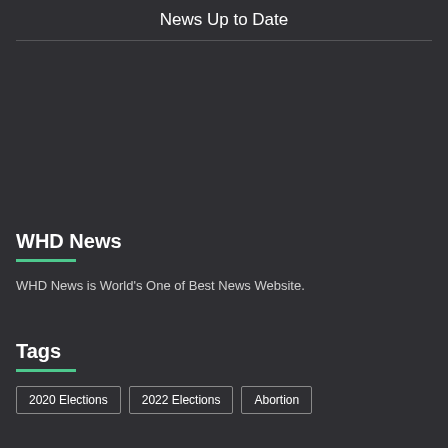News Up to Date
WHD News
WHD News is World's One of Best News Website.
Tags
2020 Elections
2022 Elections
Abortion